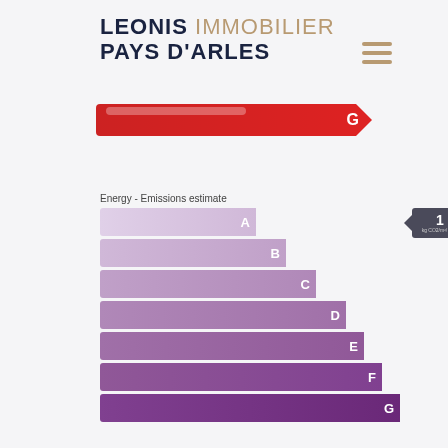[Figure (logo): Leonis Immobilier Pays d'Arles logo with hamburger menu icon]
[Figure (infographic): Energy DPE bar showing G rating in red with arrow pointing right labeled G]
Energy - Emissions estimate
[Figure (bar-chart): Horizontal bar chart showing GES emissions ratings A through G in purple shades, with value badge showing 1 kg CO2/m²/year at row A]